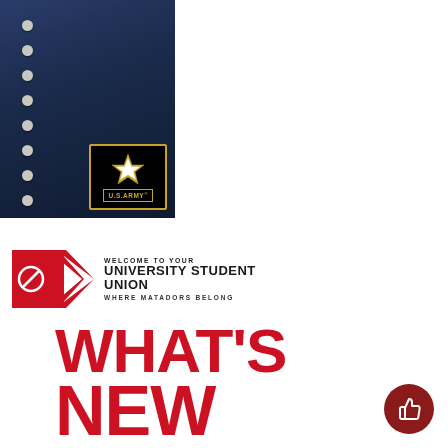[Figure (photo): US Army military uniform photo with U.S. Army logo overlay in bottom right corner, showing dark navy blue dress uniform with silver buttons]
[Figure (logo): University Student Union banner with red logo graphic, text reading WELCOME TO YOUR UNIVERSITY STUDENT UNION WHERE MATADORS BELONG]
WHAT'S NEW AT YOUR